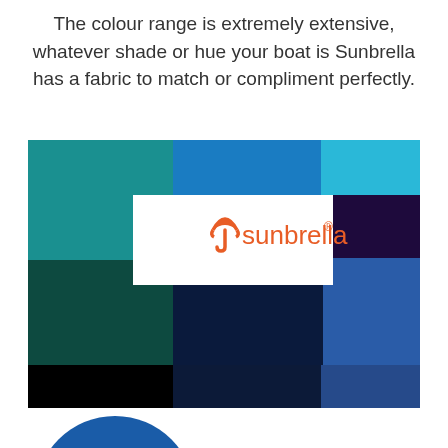The colour range is extremely extensive, whatever shade or hue your boat is Sunbrella has a fabric to match or compliment perfectly.
[Figure (photo): Sunbrella fabric colour swatches showing various shades of teal, blue, dark navy, black, and purple arranged in overlapping rectangles, with the Sunbrella logo on a white box in the center]
[Figure (logo): Partial circular logo visible at bottom left, with yellow arc and blue background]